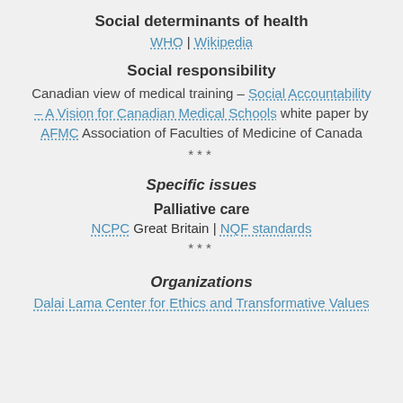Social determinants of health
WHO | Wikipedia
Social responsibility
Canadian view of medical training – Social Accountability – A Vision for Canadian Medical Schools white paper by AFMC Association of Faculties of Medicine of Canada
***
Specific issues
Palliative care
NCPC Great Britain | NQF standards
***
Organizations
Dalai Lama Center for Ethics and Transformative Values